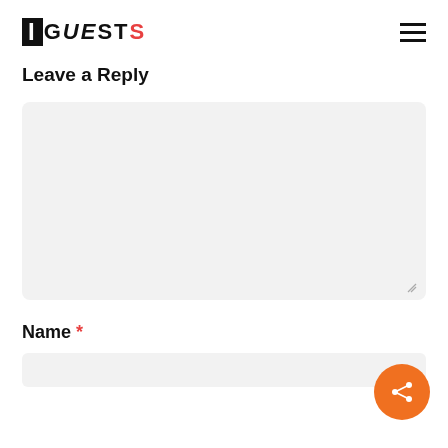iGUESTS
Leave a Reply
[Figure (screenshot): Empty textarea input box with light gray background and resize handle in bottom right corner]
Name *
[Figure (screenshot): Empty name input field with light gray background]
[Figure (infographic): Orange circular share button with share icon in white]